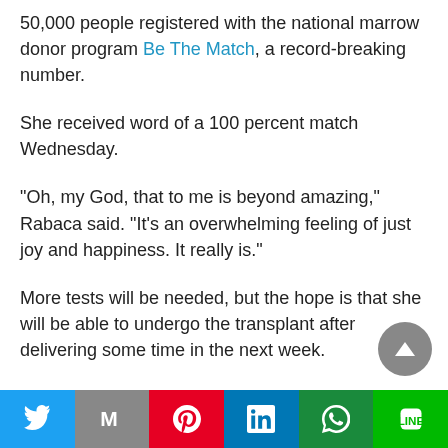50,000 people registered with the national marrow donor program Be The Match, a record-breaking number.
She received word of a 100 percent match Wednesday.
“Oh, my God, that to me is beyond amazing,” Rabaca said. “It’s an overwhelming feeling of just joy and happiness. It really is.”
More tests will be needed, but the hope is that she will be able to undergo the transplant after delivering some time in the next week.